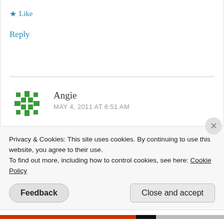★ Like
Reply
Angie
MAY 4, 2011 AT 6:51 AM
Thanks for reminding me of this recipe. You told
Privacy & Cookies: This site uses cookies. By continuing to use this website, you agree to their use.
To find out more, including how to control cookies, see here: Cookie Policy
Feedback
Close and accept